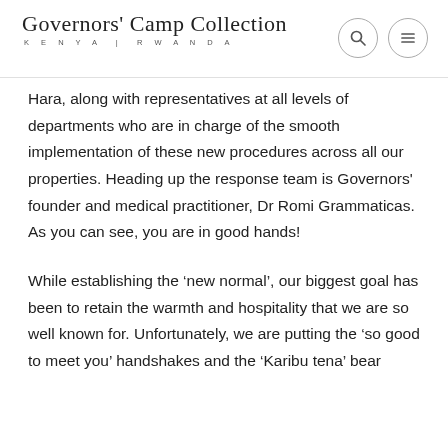Governors' Camp Collection KENYA | RWANDA
Hara, along with representatives at all levels of departments who are in charge of the smooth implementation of these new procedures across all our properties. Heading up the response team is Governors' founder and medical practitioner, Dr Romi Grammaticas. As you can see, you are in good hands!
While establishing the ‘new normal’, our biggest goal has been to retain the warmth and hospitality that we are so well known for. Unfortunately, we are putting the ‘so good to meet you’ handshakes and the ‘Karibu tena’ bear